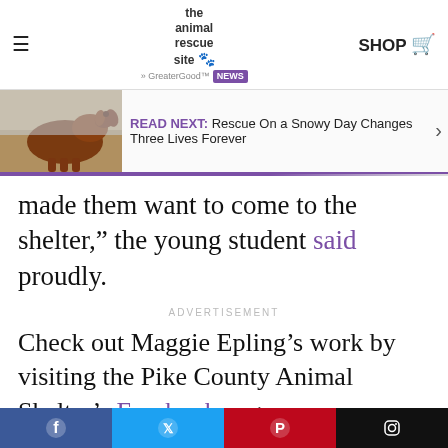The Animal Rescue Site News | SHOP
[Figure (screenshot): READ NEXT banner with a photo of a reddish-brown dog and text: READ NEXT: Rescue On a Snowy Day Changes Three Lives Forever]
made them want to come to the shelter," the young student said proudly.
ADVERTISEMENT
Check out Maggie Epling's work by visiting the Pike County Animal Shelter's Facebook page.
[Figure (infographic): Social media share buttons bar: Facebook (blue), Twitter (light blue), Pinterest (red), Instagram (black)]